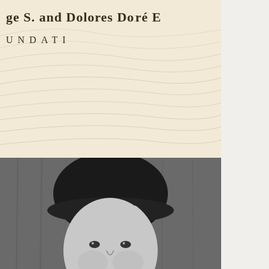[Figure (logo): George S. and Dolores Doré E[ckles] Foundation logo - partial text visible, beige/cream colored background with topographic map design]
[Figure (photo): Black and white portrait photo of a smiling woman wearing a dark hat and dark fur-collared coat]
[Figure (logo): Summit County Restaurant[s] logo with olive green mountain/leaf illustration inside an oval border, with 'SUMMIT COUNTY' and 'RESTAURANT' text in brown/gold]
[Figure (logo): Partial logo showing large red letter M and black letter A with an oval border, bottom of page]